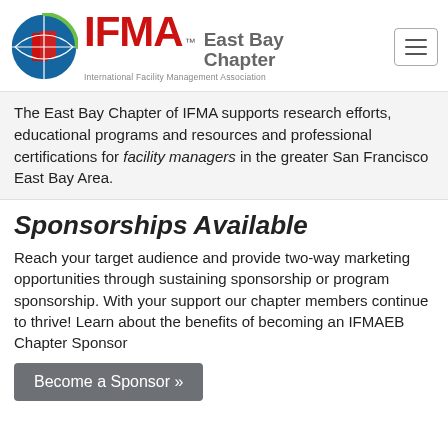IFMA™ East Bay Chapter — International Facility Management Association
The East Bay Chapter of IFMA supports research efforts, educational programs and resources and professional certifications for facility managers in the greater San Francisco East Bay Area.
Sponsorships Available
Reach your target audience and provide two-way marketing opportunities through sustaining sponsorship or program sponsorship. With your support our chapter members continue to thrive! Learn about the benefits of becoming an IFMAEB Chapter Sponsor
Become a Sponsor »